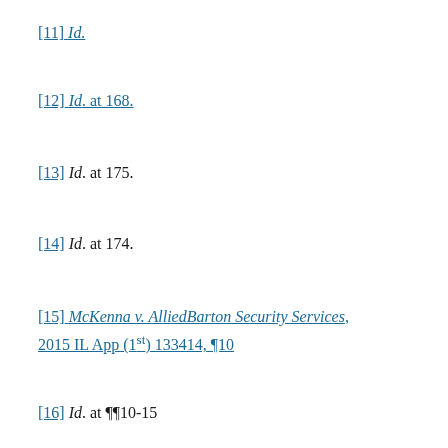[11] Id.
[12] Id. at 168.
[13] Id. at 175.
[14] Id. at 174.
[15] McKenna v. AlliedBarton Security Services, 2015 IL App (1st) 133414, ¶10
[16] Id. at ¶¶10-15